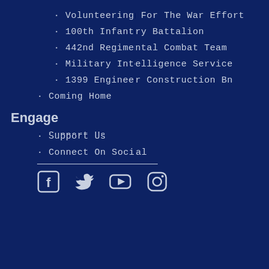· Volunteering For The War Effort
· 100th Infantry Battalion
· 442nd Regimental Combat Team
· Military Intelligence Service
· 1399 Engineer Construction Bn
· Coming Home
Engage
· Support Us
· Connect On Social
[Figure (infographic): Social media icons: Facebook, Twitter, YouTube, Instagram]